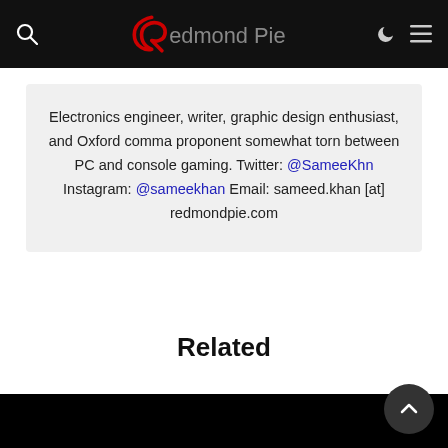Redmond Pie
Electronics engineer, writer, graphic design enthusiast, and Oxford comma proponent somewhat torn between PC and console gaming. Twitter: @SameeKhn Instagram: @sameekhan Email: sameed.khan [at] redmondpie.com
Related